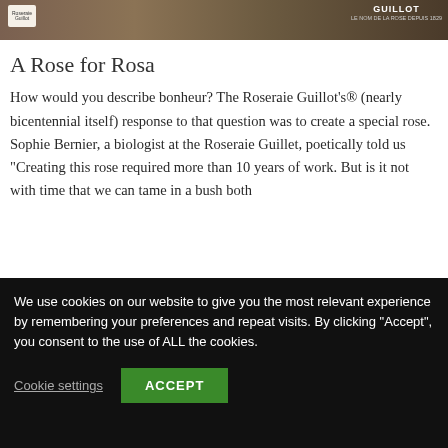[Figure (photo): Top banner image showing a rose and floral arrangement with Guillot brand logo on the right and a small decorative logo on the left. Text reads 'GUILLOT LE NOM DE LA ROSE DEPUIS 1829'.]
A Rose for Rosa
How would you describe bonheur? The Roseraie Guillot's® (nearly bicentennial itself) response to that question was to create a special rose. Sophie Bernier, a biologist at the Roseraie Guillet, poetically told us “Creating this rose required more than 10 years of work. But is it not with time that we can tame in a bush both
We use cookies on our website to give you the most relevant experience by remembering your preferences and repeat visits. By clicking “Accept”, you consent to the use of ALL the cookies.
Cookie settings
ACCEPT